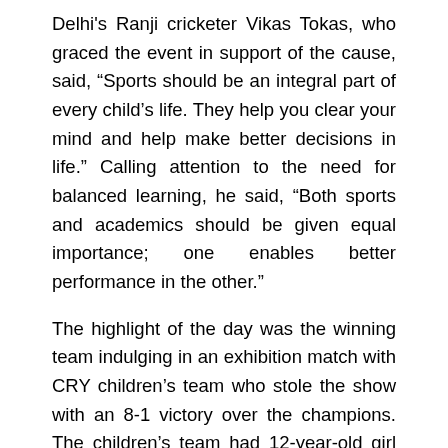Delhi's Ranji cricketer Vikas Tokas, who graced the event in support of the cause, said, “Sports should be an integral part of every child’s life. They help you clear your mind and help make better decisions in life.” Calling attention to the need for balanced learning, he said, “Both sports and academics should be given equal importance; one enables better performance in the other.”
The highlight of the day was the winning team indulging in an exhibition match with CRY children’s team who stole the show with an 8-1 victory over the champions. The children’s team had 12-year-old girl Nipu Kumari juggling the ball in an otherwise all boys’ team, reinstating the significance of creating more space for girl children in every walk of life.
Speaking at the event, CRY Regional Director Soha Moitra said, “Soccer for Child Rights is a flagship initiative of CRY that str during the Goa next and next celebration off